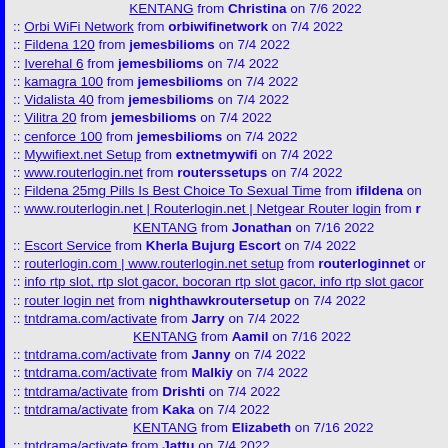KENTANG from Christina on 7/6 2022
Orbi WiFi Network from orbiwifinetwork on 7/4 2022
Fildena 120 from jemesbilioms on 7/4 2022
Iverehal 6 from jemesbilioms on 7/4 2022
kamagra 100 from jemesbilioms on 7/4 2022
Vidalista 40 from jemesbilioms on 7/4 2022
Vilitra 20 from jemesbilioms on 7/4 2022
cenforce 100 from jemesbilioms on 7/4 2022
Mywifiext.net Setup from extnetmywifi on 7/4 2022
www.routerlogin.net from routerssetups on 7/4 2022
Fildena 25mg Pills Is Best Choice To Sexual Time from ifildena on
www.routerlogin.net | Routerlogin.net | Netgear Router login from r
KENTANG from Jonathan on 7/16 2022
Escort Service from Kherla Bujurg Escort on 7/4 2022
routerlogin.com | www.routerlogin.net setup from routerloginnet or
info rtp slot, rtp slot gacor, bocoran rtp slot gacor, info rtp slot gacor
router login net from nighthawkroutersetup on 7/4 2022
tntdrama.com/activate from Jarry on 7/4 2022
KENTANG from Aamil on 7/16 2022
tntdrama.com/activate from Janny on 7/4 2022
tntdrama.com/activate from Malkiy on 7/4 2022
tntdrama/activate from Drishti on 7/4 2022
tntdrama/activate from Kaka on 7/4 2022
KENTANG from Elizabeth on 7/16 2022
tntdrama/activate from Jattu on 7/4 2022
tntdrama/activate from Topa on 7/4 2022
KENTANG from Ashley on 7/16 2022
tntdrama/activate from Danny on 7/4 2022
tntdrama/activate from Garry on 7/4 2022
tntdrama/activate from Loba on 7/4 2022